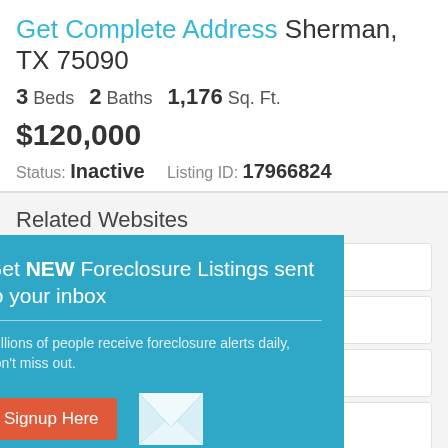Get Complete Address Sherman, TX 75090
3 Beds  2 Baths  1,176 Sq. Ft.
$120,000
Status: Inactive  Listing ID: 17966824
Related Websites
Repodirect.com — Online auction fo...
Preforeclosure.c... — Find pre foreclo...
TaxLiens.com — Nationwide tax li...
HUD.com — Find HUD homes...
Mortgage — Learn about & get approved for a Mortgage
[Figure (screenshot): Modal popup overlay with teal background. Title: 'Get NEW Foreclosure Listings sent to your inbox'. Body text: 'Millions of people receive foreclosure alerts daily, don't miss out.' Red button: 'Signup Here'. Envelope icon. Links: 'No Thanks | Remind Me Later']